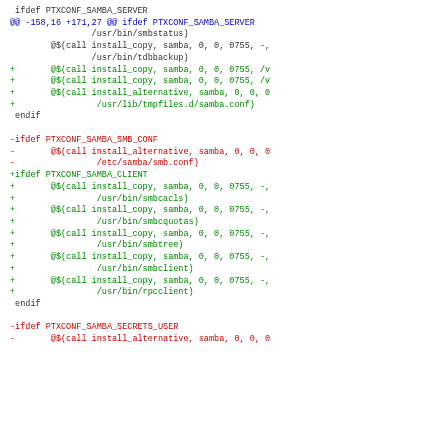Diff/patch code showing changes to a Makefile for samba package installation targets